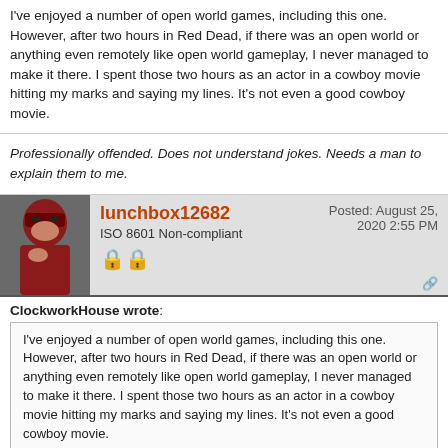I've enjoyed a number of open world games, including this one. However, after two hours in Red Dead, if there was an open world or anything even remotely like open world gameplay, I never managed to make it there. I spent those two hours as an actor in a cowboy movie hitting my marks and saying my lines. It's not even a good cowboy movie.
Professionally offended. Does not understand jokes. Needs a man to explain them to me.
lunchbox12682
ISO 8601 Non-compliant
Posted: August 25, 2020 2:55 PM
ClockworkHouse wrote: I've enjoyed a number of open world games, including this one. However, after two hours in Red Dead, if there was an open world or anything even remotely like open world gameplay, I never managed to make it there. I spent those two hours as an actor in a cowboy movie hitting my marks and saying my lines. It's not even a good cowboy movie.
RDR2 is so bad for caring for the players time. I think the intro is like 4+ hours. I still need to finish the game.
Bottom to Chapter #1488